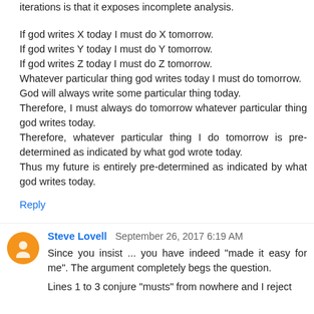iterations is that it exposes incomplete analysis.

If god writes X today I must do X tomorrow.
If god writes Y today I must do Y tomorrow.
If god writes Z today I must do Z tomorrow.
Whatever particular thing god writes today I must do tomorrow.
God will always write some particular thing today.
Therefore, I must always do tomorrow whatever particular thing god writes today.
Therefore, whatever particular thing I do tomorrow is pre-determined as indicated by what god wrote today.
Thus my future is entirely pre-determined as indicated by what god writes today.
Reply
Steve Lovell  September 26, 2017 6:19 AM
Since you insist ... you have indeed "made it easy for me". The argument completely begs the question.
Lines 1 to 3 conjure "musts" from nowhere and I reject...